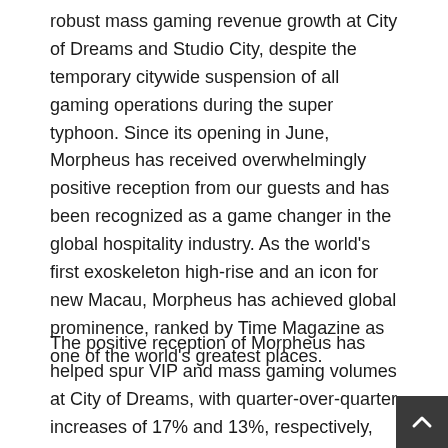robust mass gaming revenue growth at City of Dreams and Studio City, despite the temporary citywide suspension of all gaming operations during the super typhoon. Since its opening in June, Morpheus has received overwhelmingly positive reception from our guests and has been recognized as a game changer in the global hospitality industry. As the world's first exoskeleton high-rise and an icon for new Macau, Morpheus has achieved global prominence, ranked by Time Magazine as one of the world's greatest places.
The positive reception of Morpheus has helped spur VIP and mass gaming volumes at City of Dreams, with quarter-over-quarter increases of 17% and 13%, respectively, during the third quarter. The addition of Morpheus marks the beginning of the relaunch of City of Dreams. We are currently renovating the VIP area on the second level, which includes a new VIP room that opened just ahead of the October Golden Week. Right